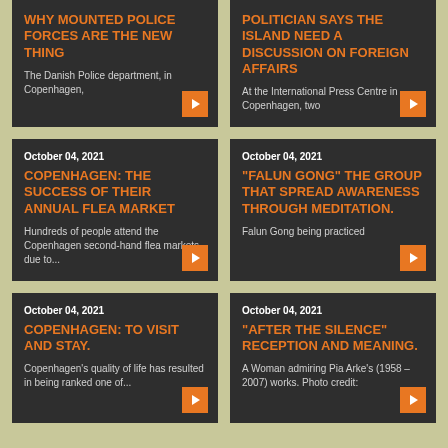[Figure (screenshot): News article card: WHY MOUNTED POLICE FORCES ARE THE NEW THING. The Danish Police department, in Copenhagen,]
[Figure (screenshot): News article card: POLITICIAN SAYS THE ISLAND NEED A DISCUSSION ON FOREIGN AFFAIRS. At the International Press Centre in Copenhagen, two]
October 04, 2021
COPENHAGEN: THE SUCCESS OF THEIR ANNUAL FLEA MARKET
Hundreds of people attend the Copenhagen second-hand flea markets, due to...
October 04, 2021
“FALUN GONG” THE GROUP THAT SPREAD AWARENESS THROUGH MEDITATION.
Falun Gong being practiced
October 04, 2021
COPENHAGEN: TO VISIT AND STAY.
Copenhagen's quality of life has resulted in being ranked one of...
October 04, 2021
“AFTER THE SILENCE” RECEPTION AND MEANING.
A Woman admiring Pia Arke's (1958 – 2007) works. Photo credit: